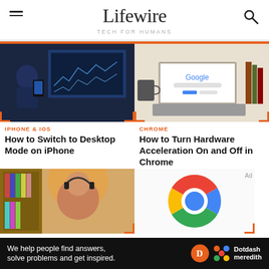Lifewire TECH FOR HUMANS
[Figure (photo): Person using phone in front of trading monitors with dark blue lighting]
IPHONE & IOS
How to Switch to Desktop Mode on iPhone
[Figure (photo): Laptop with Google homepage on screen on a desk with books and coffee mug]
CHROME
How to Turn Hardware Acceleration On and Off in Chrome
[Figure (photo): Woman lying on floor with headphones in a library setting]
[Figure (logo): Google Chrome logo - colorful pie chart style circle icon]
We help people find answers, solve problems and get inspired. Dotdash meredith